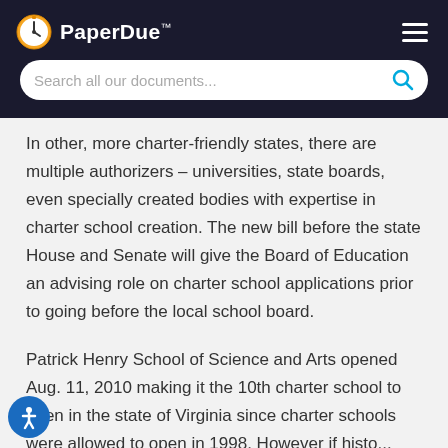PaperDue™
In other, more charter-friendly states, there are multiple authorizers – universities, state boards, even specially created bodies with expertise in charter school creation. The new bill before the state House and Senate will give the Board of Education an advising role on charter school applications prior to going before the local school board.
Patrick Henry School of Science and Arts opened Aug. 11, 2010 making it the 10th charter school to open in the state of Virginia since charter schools were allowed to open in 1998. However if histo...